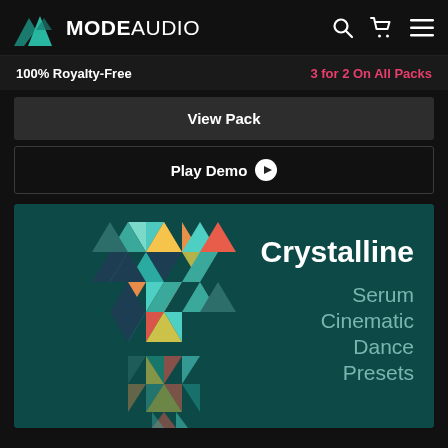MODE AUDIO
100% Royalty-Free
3 for 2 On All Packs
View Pack
Play Demo
[Figure (illustration): Crystalline Serum Cinematic Dance Presets product artwork — geometric crystal/diamond shapes made of colorful triangles (teal, coral, orange, yellow, navy, green) arranged into a tall abstract figure with a reflection, on a dark teal background. Text overlay reads 'Crystalline Serum Cinematic Dance Presets'.]